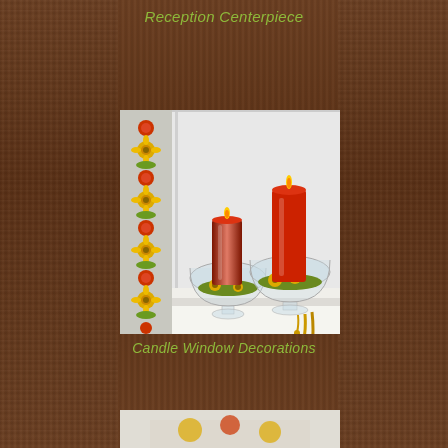Reception Centerpiece
[Figure (photo): Two red pillar candles in clear glass bowl vases with sunflowers and green moss decoration, placed on a white surface near a window. On the left side, a vertical garland of orange roses and yellow sunflowers hangs down. Amber wax drips hang from the right vase.]
Candle Window Decorations
[Figure (photo): Partial view of another floral or candle arrangement at the bottom of the page.]